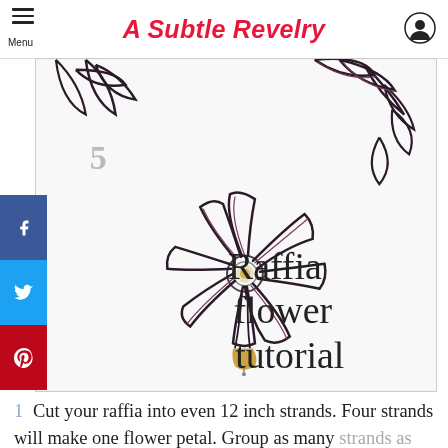A Subtle Revelry
[Figure (photo): Raffia flower tutorial image showing a dark raffia flower made from strands, with looped petals arranged in a daisy pattern, a decorative center, and a small bell hanging below. Text overlay reads 'Raffia flower tutorial'. Step number 5 is visible in the upper left of the image.]
1 Cut your raffia into even 12 inch strands. Four strands will make one flower petal. Group as many strands as you would like for the petal for a bigger...